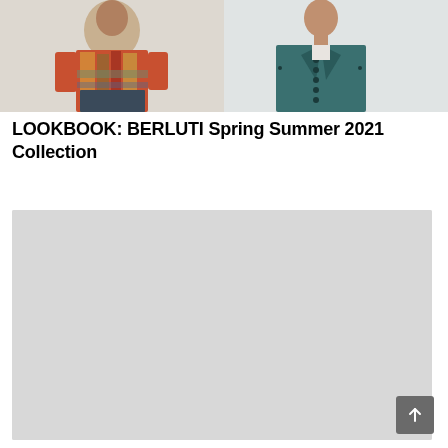[Figure (photo): Two male fashion models. Left model wears a colorful patterned short-sleeve shirt and dark shorts. Right model wears a teal double-breasted blazer.]
LOOKBOOK: BERLUTI Spring Summer 2021 Collection
[Figure (photo): A large light gray placeholder image area representing the second lookbook photo.]